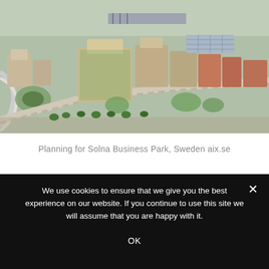[Figure (photo): Aerial view of Solna Business Park development in Sweden, showing a large urban mixed-use development with office buildings, green rooftops, roads, and surrounding city context.]
Planning for Solna Business Park, Sweden aix.se
We use cookies to ensure that we give you the best experience on our website. If you continue to use this site we will assume that you are happy with it.
OK